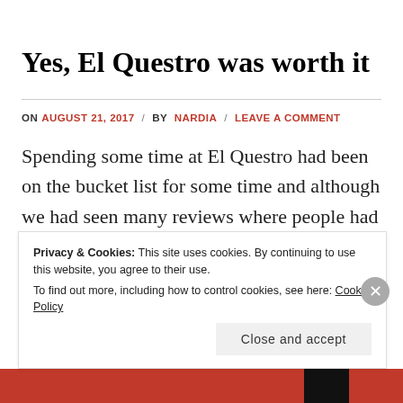Yes, El Questro was worth it
ON AUGUST 21, 2017 / BY NARDIA / LEAVE A COMMENT
Spending some time at El Questro had been on the bucket list for some time and although we had seen many reviews where people had claimed it to be too
Privacy & Cookies: This site uses cookies. By continuing to use this website, you agree to their use.
To find out more, including how to control cookies, see here: Cookie Policy
Close and accept